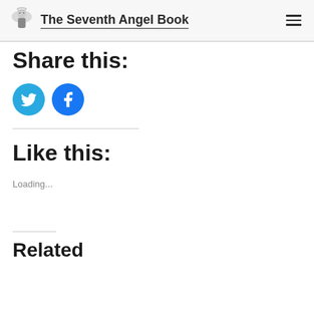The Seventh Angel Book
Share this:
[Figure (illustration): Twitter and Facebook social share buttons as blue circles with white icons]
Like this:
Loading...
Related